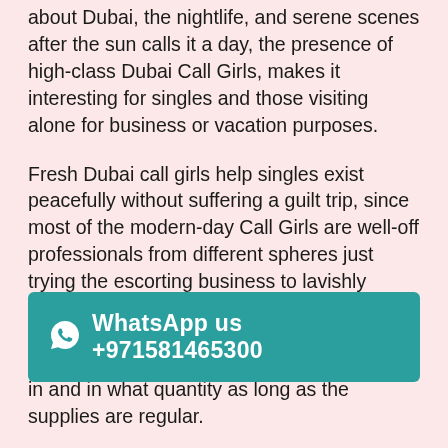about Dubai, the nightlife, and serene scenes after the sun calls it a day, the presence of high-class Dubai Call Girls, makes it interesting for singles and those visiting alone for business or vacation purposes.
Fresh Dubai call girls help singles exist peacefully without suffering a guilt trip, since most of the modern-day Call Girls are well-off professionals from different spheres just trying the escorting business to lavishly spend and earn as well as satisfy the urge of those traveling from across the world. Dubai doesn't seem to care how the money comes in and in what quantity as long as the supplies are regular.
Whether or not for the independent Dubai Call Girls, the country's wealth and success will have an impact or it is just an add-on, nobody will ever know! But for them, who ... you can eas... aspects with your currency prowess and power after
WhatsApp us +971581465300